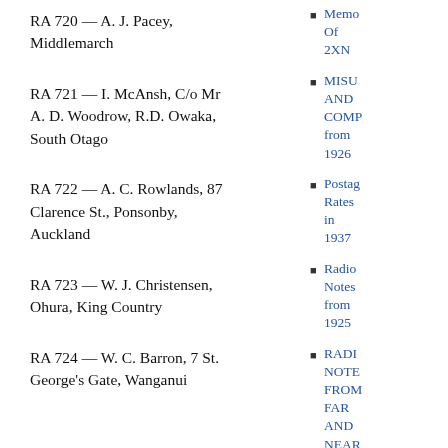RA 720 — A. J. Pacey, Middlemarch
RA 721 — I. McAnsh, C/o Mr A. D. Woodrow, R.D. Owaka, South Otago
RA 722 — A. C. Rowlands, 87 Clarence St., Ponsonby, Auckland
RA 723 — W. J. Christensen, Ohura, King Country
RA 724 — W. C. Barron, 7 St. George's Gate, Wanganui
Memo Of 2XN
MISU AND COMP from 1926
Postage Rates in 1937
Radio Notes from 1925
RADIO NOTES FROM FAR AND NEAR 1935